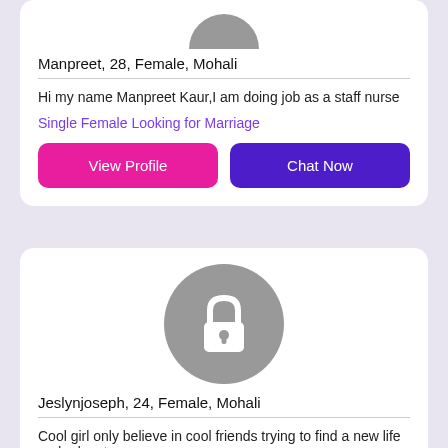[Figure (photo): Partially visible gray profile avatar circle at top of card]
Manpreet, 28, Female, Mohali
Hi my name Manpreet Kaur,I am doing job as a staff nurse
Single Female Looking for Marriage
View Profile
Chat Now
[Figure (illustration): Gray locked profile avatar with white lock icon]
Jeslynjoseph, 24, Female, Mohali
Cool girl only believe in cool friends trying to find a new life and adventure